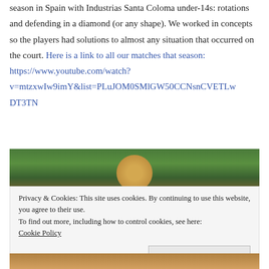season in Spain with Industrias Santa Coloma under-14s: rotations and defending in a diamond (or any shape). We worked in concepts so the players had solutions to almost any situation that occurred on the court. Here is a link to all our matches that season: https://www.youtube.com/watch?v=mtzxwIw9imY&list=PLuJOM0SMlGW50CCNsnCVETLwDT3TN
[Figure (photo): Photo of a person, partially visible, with colorful graffiti or mural background in greens and reds]
Privacy & Cookies: This site uses cookies. By continuing to use this website, you agree to their use. To find out more, including how to control cookies, see here: Cookie Policy
[Figure (photo): Bottom portion of a photo, colorful background]